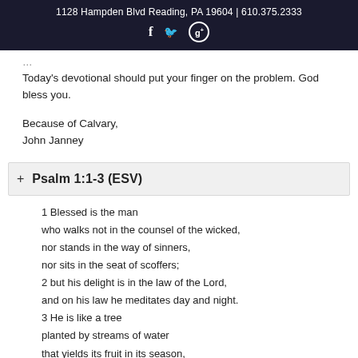1128 Hampden Blvd Reading, PA 19604 | 610.375.2333
Today's devotional should put your finger on the problem. God bless you.
Because of Calvary,
John Janney
+ Psalm 1:1-3 (ESV)
1 Blessed is the man
who walks not in the counsel of the wicked,
nor stands in the way of sinners,
nor sits in the seat of scoffers;
2 but his delight is in the law of the Lord,
and on his law he meditates day and night.
3 He is like a tree
planted by streams of water
that yields its fruit in its season,
and its leaf does not wither,